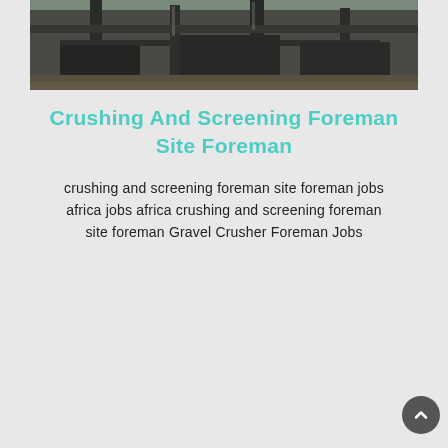[Figure (photo): Industrial crushing and screening machinery equipment at a job site, showing heavy metal structures and machinery in dark tones]
Crushing And Screening Foreman Site Foreman
crushing and screening foreman site foreman jobs africa jobs africa crushing and screening foreman site foreman Gravel Crusher Foreman Jobs